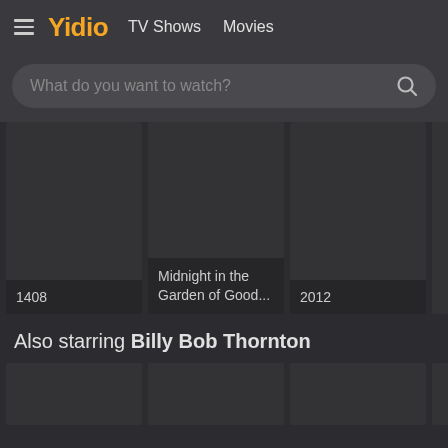Yidio  TV Shows  Movies
What do you want to watch?
[Figure (screenshot): Movie card: 1408]
[Figure (screenshot): Movie card: Midnight in the Garden of Good...]
[Figure (screenshot): Movie card: 2012]
[Figure (screenshot): Partial movie card (cut off)]
Also starring Billy Bob Thornton
[Figure (screenshot): Partial bottom movie card 1]
[Figure (screenshot): Partial bottom movie card 2]
[Figure (screenshot): Partial bottom movie card 3]
[Figure (screenshot): Partial bottom movie card 4 (cut off)]